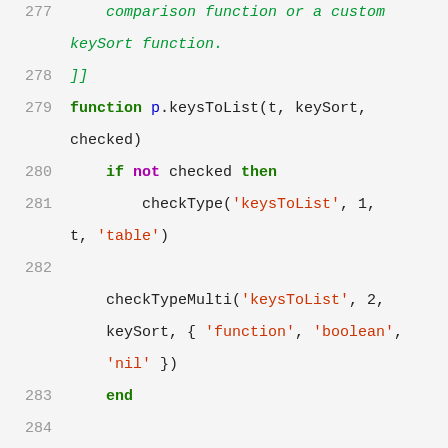277   comparison function or a custom keySort function.
278   ]]
279   function p.keysToList(t, keySort, checked)
280       if not checked then
281           checkType('keysToList', 1, t, 'table')
282           checkTypeMulti('keysToList', 2, keySort, { 'function', 'boolean', 'nil' })
283       end
284
285       local list = {}
286       local index = 1
287       for key, value in pairs(t) do